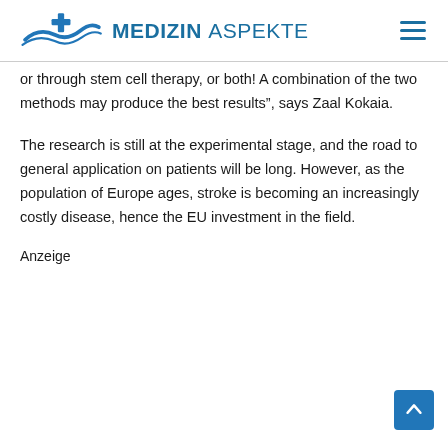MEDIZIN ASPEKTE
or through stem cell therapy, or both! A combination of the two methods may produce the best results”, says Zaal Kokaia.
The research is still at the experimental stage, and the road to general application on patients will be long. However, as the population of Europe ages, stroke is becoming an increasingly costly disease, hence the EU investment in the field.
Anzeige